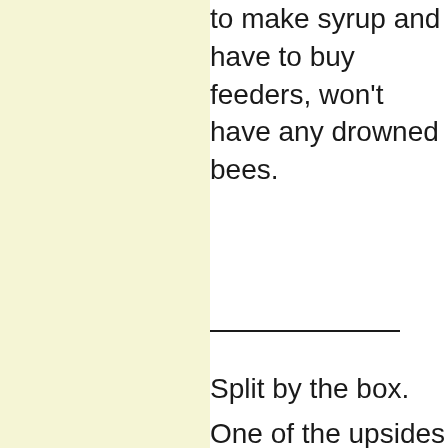to make syrup and have to buy feeders, won't have any drowned bees.
Split by the box.
One of the upsides smaller boxes is that can manage the hive the box'll rather th...